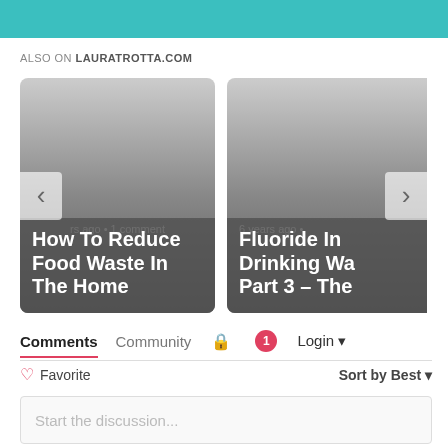[Figure (screenshot): Teal header bar at top of page]
ALSO ON LAURATROTTA.COM
[Figure (screenshot): Card: How To Reduce Food Waste In The Home, rs ago • 1 comment]
[Figure (screenshot): Card: Fluoride In Drinking Wa... Part 3 – The..., 6 years ago •]
Comments  Community  🔒  1  Login ▾
♡ Favorite    Sort by Best ▾
Start the discussion...